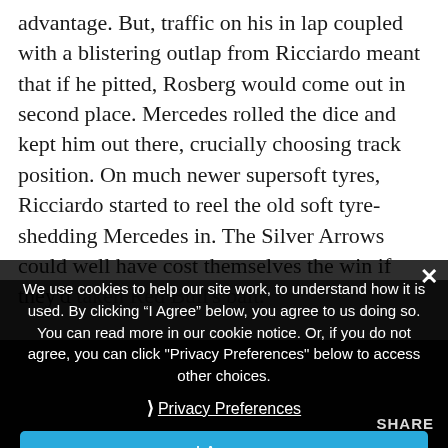advantage. But, traffic on his in lap coupled with a blistering outlap from Ricciardo meant that if he pitted, Rosberg would come out in second place. Mercedes rolled the dice and kept him out there, crucially choosing track position. On much newer supersoft tyres, Ricciardo started to reel the old soft tyre-shedding Mercedes in. The Silver Arrows could well have cost themselves the win if they'd taken Red Bull's bait.
We use cookies to help our site work, to understand how it is used. By clicking “I Agree” below, you agree to us doing so. You can read more in our cookie notice. Or, if you do not agree, you can click "Privacy Preferences" below to access other choices.
Privacy Preferences
I Agree